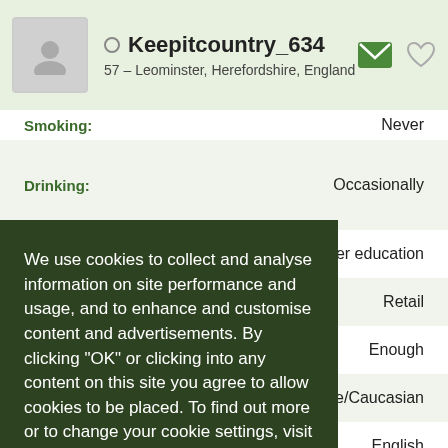Keepitcountry_634 – 57 – Leominster, Herefordshire, England
Smoking: Never
Drinking: Occasionally
Education: Further education
Occupation: Retail
Income: Enough
Ethnicity: White/Caucasian
Home language: English
Other languages: Welsh
We use cookies to collect and analyse information on site performance and usage, and to enhance and customise content and advertisements. By clicking "OK" or clicking into any content on this site you agree to allow cookies to be placed. To find out more or to change your cookie settings, visit the cookies section of our Privacy Policy.
OK